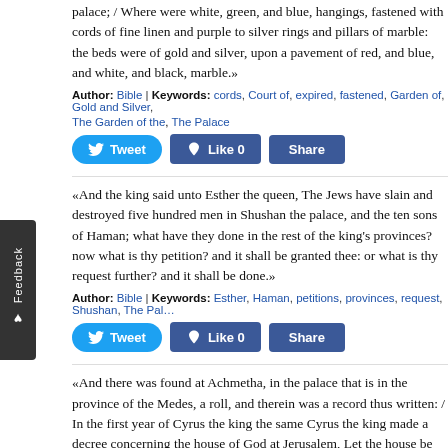palace; / Where were white, green, and blue, hangings, fastened with cords of fine linen and purple to silver rings and pillars of marble: the beds were of gold and silver, upon a pavement of red, and blue, and white, and black, marble.»
Author: Bible | Keywords: cords, Court of, expired, fastened, Garden of, Gold and Silver, The Garden of the, The Palace
«And the king said unto Esther the queen, The Jews have slain and destroyed five hundred men in Shushan the palace, and the ten sons of Haman; what have they done in the rest of the king's provinces? now what is thy petition? and it shall be granted thee: or what is thy request further? and it shall be done.»
Author: Bible | Keywords: Esther, Haman, petitions, provinces, request, Shushan, The Palace
«And there was found at Achmetha, in the palace that is in the province of the Medes, a roll, and therein was a record thus written: / In the first year of Cyrus the king the same Cyrus the king made a decree concerning the house of God at Jerusalem, Let the house be builded, the place where they offered sacrifices, and let the foundations thereof be strongly laid;»